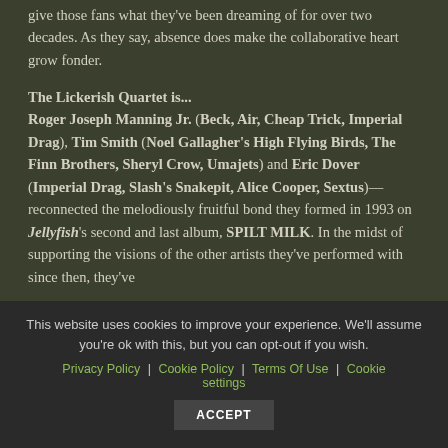give those fans what they've been dreaming of for over two decades. As they say, absence does make the collaborative heart grow fonder.
The Lickerish Quartet is... Roger Joseph Manning Jr. (Beck, Air, Cheap Trick, Imperial Drag), Tim Smith (Noel Gallagher's High Flying Birds, The Finn Brothers, Sheryl Crow, Umajets) and Eric Dover (Imperial Drag, Slash's Snakepit, Alice Cooper, Sextus)—reconnected the melodiously fruitful bond they formed in 1993 on Jellyfish's second and last album, SPILT MILK. In the midst of supporting the visions of the other artists they've performed with since then, they've
This website uses cookies to improve your experience. We'll assume you're ok with this, but you can opt-out if you wish.
Privacy Policy | Cookie Policy | Terms Of Use | Cookie settings
ACCEPT